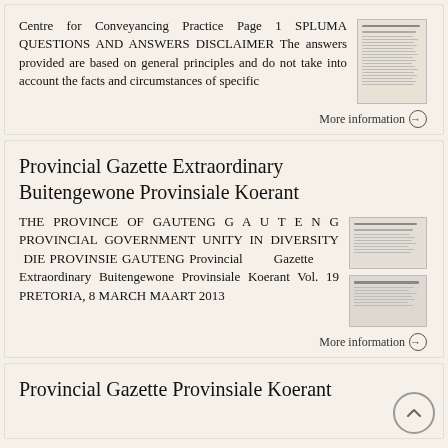Centre for Conveyancing Practice Page 1 SPLUMA QUESTIONS AND ANSWERS DISCLAIMER The answers provided are based on general principles and do not take into account the facts and circumstances of specific
More information →
Provincial Gazette Extraordinary Buitengewone Provinsiale Koerant
THE PROVINCE OF GAUTENG G A U T E N G PROVINCIAL GOVERNMENT UNITY IN DIVERSITY DIE PROVINSIE GAUTENG Provincial Gazette Extraordinary Buitengewone Provinsiale Koerant Vol. 19 PRETORIA, 8 MARCH MAART 2013
More information →
Provincial Gazette Provinsiale Koerant